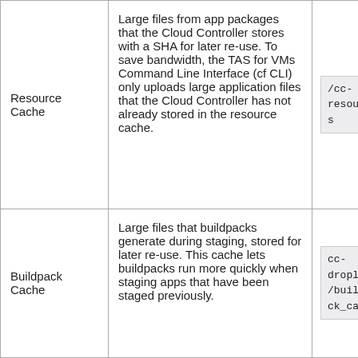| Resource Cache | Large files from app packages that the Cloud Controller stores with a SHA for later re-use. To save bandwidth, the TAS for VMs Command Line Interface (cf CLI) only uploads large application files that the Cloud Controller has not already stored in the resource cache. | /cc-resources |
| Buildpack Cache | Large files that buildpacks generate during staging, stored for later re-use. This cache lets buildpacks run more quickly when staging apps that have been staged previously. | cc-droplets/buildpack_cache |